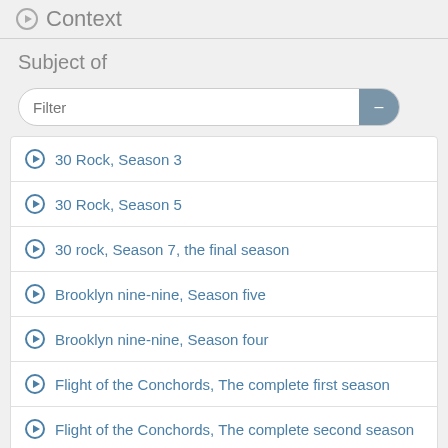Context
Subject of
Filter
30 Rock, Season 3
30 Rock, Season 5
30 rock, Season 7, the final season
Brooklyn nine-nine, Season five
Brooklyn nine-nine, Season four
Flight of the Conchords, The complete first season
Flight of the Conchords, The complete second season
How I met your mother, Season four
How I met your mother, Season seven